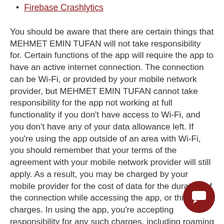Firebase Crashlytics
You should be aware that there are certain things that MEHMET EMIN TUFAN will not take responsibility for. Certain functions of the app will require the app to have an active internet connection. The connection can be Wi-Fi, or provided by your mobile network provider, but MEHMET EMIN TUFAN cannot take responsibility for the app not working at full functionality if you don't have access to Wi-Fi, and you don't have any of your data allowance left. If you're using the app outside of an area with Wi-Fi, you should remember that your terms of the agreement with your mobile network provider will still apply. As a result, you may be charged by your mobile provider for the cost of data for the duration of the connection while accessing the app, or third party charges. In using the app, you're accepting responsibility for any such charges, including roaming charges if you use the app outside of your